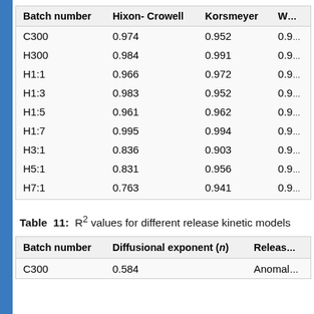| Batch number | Hixon- Crowell | Korsmeyer | W… |
| --- | --- | --- | --- |
| C300 | 0.974 | 0.952 | 0.9… |
| H300 | 0.984 | 0.991 | 0.9… |
| H1:1 | 0.966 | 0.972 | 0.9… |
| H1:3 | 0.983 | 0.952 | 0.9… |
| H1:5 | 0.961 | 0.962 | 0.9… |
| H1:7 | 0.995 | 0.994 | 0.9… |
| H3:1 | 0.836 | 0.903 | 0.9… |
| H5:1 | 0.831 | 0.956 | 0.9… |
| H7:1 | 0.763 | 0.941 | 0.9… |
Table 11: R² values for different release kinetic models
| Batch number | Diffusional exponent (n) | Releas… |
| --- | --- | --- |
| C300 | 0.584 | Anomal… |